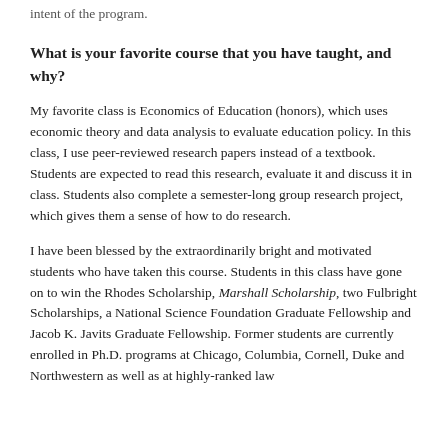intent of the program.
What is your favorite course that you have taught, and why?
My favorite class is Economics of Education (honors), which uses economic theory and data analysis to evaluate education policy. In this class, I use peer-reviewed research papers instead of a textbook. Students are expected to read this research, evaluate it and discuss it in class. Students also complete a semester-long group research project, which gives them a sense of how to do research.
I have been blessed by the extraordinarily bright and motivated students who have taken this course. Students in this class have gone on to win the Rhodes Scholarship, Marshall Scholarship, two Fulbright Scholarships, a National Science Foundation Graduate Fellowship and Jacob K. Javits Graduate Fellowship. Former students are currently enrolled in Ph.D. programs at Chicago, Columbia, Cornell, Duke and Northwestern as well as at highly-ranked law